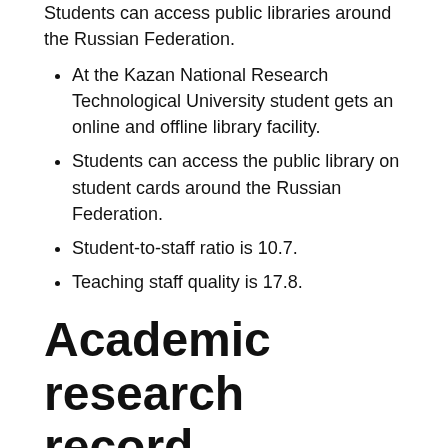Students can access public libraries around the Russian Federation.
At the Kazan National Research Technological University student gets an online and offline library facility.
Students can access the public library on student cards around the Russian Federation.
Student-to-staff ratio is 10.7.
Teaching staff quality is 17.8.
Academic research record
A number of local and international students study in the Kazan National Research Technological University located in the Russian Federation. Student study bachelors, master and PhD program and academic teaching staff made the university outstanding with an